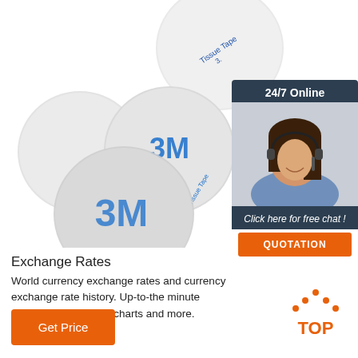[Figure (photo): Multiple circular white adhesive disc pads with 3M branding and 'Tissue Tape' text, shown from above on a white background]
[Figure (photo): Customer service representative woman smiling wearing headset, under '24/7 Online' banner with 'Click here for free chat!' and 'QUOTATION' button]
Exchange Rates
World currency exchange rates and currency exchange rate history. Up-to-the minute currency conversion, charts and more.
[Figure (other): TOP arrow logo in orange dots with 'TOP' text in orange]
Get Price